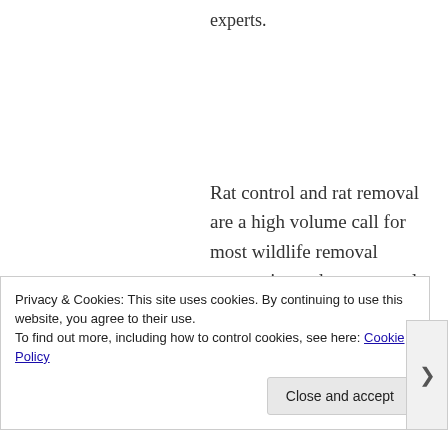experts.
Rat control and rat removal are a high volume call for most wildlife removal companies and pest control companies alike. They're
Privacy & Cookies: This site uses cookies. By continuing to use this website, you agree to their use.
To find out more, including how to control cookies, see here: Cookie Policy
Close and accept